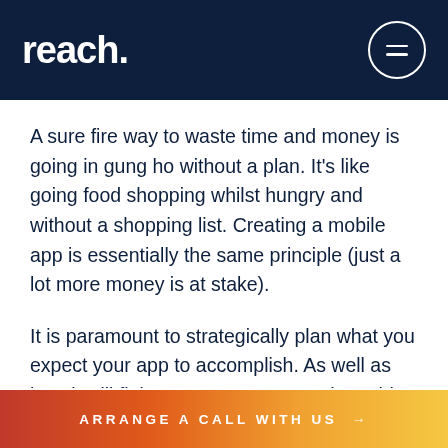reach.
A sure fire way to waste time and money is going in gung ho without a plan. It's like going food shopping whilst hungry and without a shopping list. Creating a mobile app is essentially the same principle (just a lot more money is at stake).
It is paramount to strategically plan what you expect your app to accomplish. As well as how it will fit into to your target market. This will lessen or even eliminate the risk of developing an app which doesn't quite take off or perform as well as you had initially hoped. A
ARRANGE A CALL WITH US →